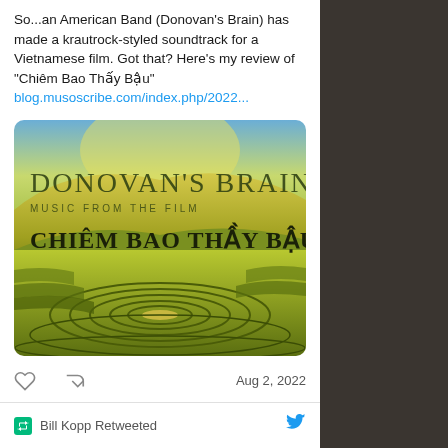So...an American Band (Donovan's Brain) has made a krautrock-styled soundtrack for a Vietnamese film. Got that? Here's my review of "Chiêm Bao Thấy Bậu" blog.musoscribe.com/index.php/2022...
[Figure (photo): Album cover for Donovan's Brain - Music From The Film CHIÊM BAO THẤY BẬU. Shows terraced rice fields with yellow-green hills and dramatic sky.]
Aug 2, 2022
Bill Kopp Retweeted
SF Public Library